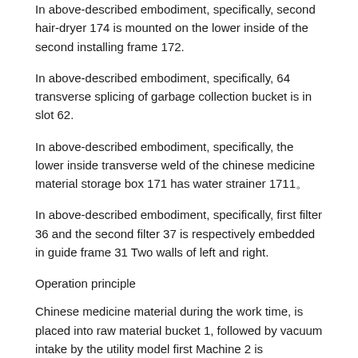In above-described embodiment, specifically, second hair-dryer 174 is mounted on the lower inside of the second installing frame 172.
In above-described embodiment, specifically, 64 transverse splicing of garbage collection bucket is in slot 62.
In above-described embodiment, specifically, the lower inside transverse weld of the chinese medicine material storage box 171 has water strainer 1711。
In above-described embodiment, specifically, first filter 36 and the second filter 37 is respectively embedded in guide frame 31 Two walls of left and right.
Operation principle
Chinese medicine material during the work time, is placed into raw material bucket 1, followed by vacuum intake by the utility model first Machine 2 is transported in guide frame 31, and then it is blowed using the first hair-dryer 34, and by the dust on Chinese medicine material It is blown